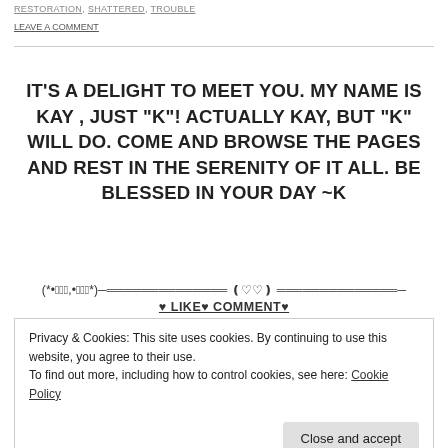RESTORATION, SHATTERED, TROUBLE
LEAVE A COMMENT
IT'S A DELIGHT TO MEET YOU. MY NAME IS KAY , JUST "K"! ACTUALLY KAY, BUT "K" WILL DO. COME AND BROWSE THE PAGES AND REST IN THE SERENITY OF IT ALL. BE BLESSED IN YOUR DAY ~K
(*•̩̩͙,•̩̩͙*)─══════════════ ❪♡♡❫ ══════════════─
♥ LIKE♥ COMMENT♥
Privacy & Cookies: This site uses cookies. By continuing to use this website, you agree to their use.
To find out more, including how to control cookies, see here: Cookie Policy
Close and accept